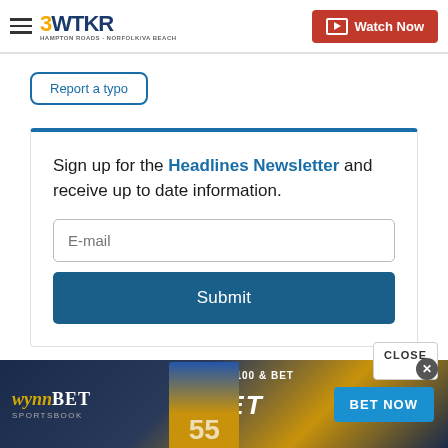3WTKR | Watch Now
Report a typo
Sign up for the Headlines Newsletter and receive up to date information.
E-mail
Submit
CLOSE
[Figure (screenshot): WynnBET Sportsbook advertisement banner with football player, 'BET $100 & BET', BET text, and BET NOW button]